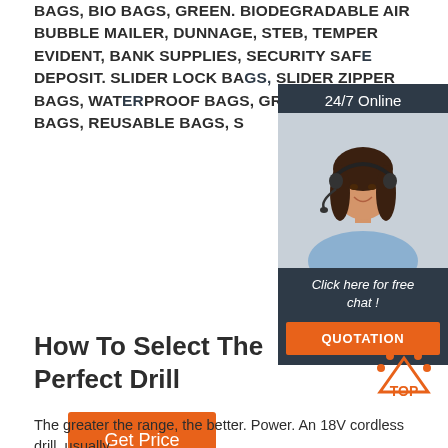BAGS, BIO BAGS, GREEN. BIODEGRADABLE AIR BUBBLE MAILER, DUNNAGE, STEB, TEMPER EVIDENT, BANK SUPPLIES, SECURITY SAFE DEPOSIT. SLIDER LOCK BAGS, SLIDER ZIPPER BAGS, WATERPROOF BAGS, GRID SLIDER BAGS, REUSABLE BAGS, S
[Figure (other): 24/7 Online chat widget with a woman wearing a headset, dark blue background, 'Click here for free chat!' text and an orange QUOTATION button]
Get Price
How To Select The Perfect Drill
[Figure (logo): Orange TOP logo with dotted arc above text]
The greater the range, the better. Power. An 18V cordless drill, usually